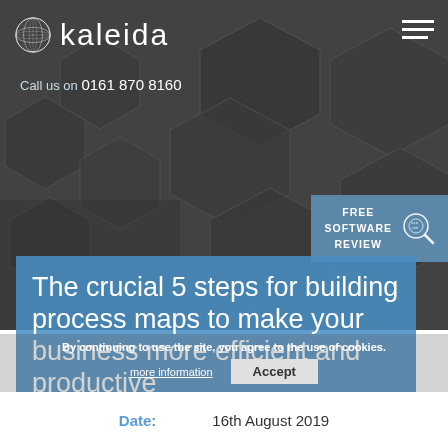[Figure (screenshot): Kaleida website screenshot with dark hexagon background hero image]
kaleida
Call us on 0161 870 8160
FREE SOFTWARE REVIEW
The crucial 5 steps for building process maps to make your business more efficient and productive
By continuing to use the site, you agree to the use of cookies.
more information
Accept
Date: 16th August 2019